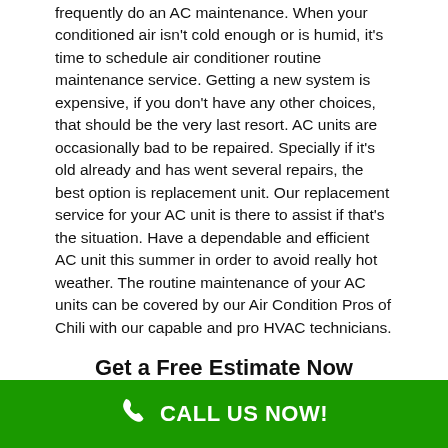frequently do an AC maintenance. When your conditioned air isn't cold enough or is humid, it's time to schedule air conditioner routine maintenance service. Getting a new system is expensive, if you don't have any other choices, that should be the very last resort. AC units are occasionally bad to be repaired. Specially if it's old already and has went several repairs, the best option is replacement unit. Our replacement service for your AC unit is there to assist if that's the situation. Have a dependable and efficient AC unit this summer in order to avoid really hot weather. The routine maintenance of your AC units can be covered by our Air Condition Pros of Chili with our capable and pro HVAC technicians.
Get a Free Estimate Now
Service needed:
Select...
CALL US NOW!